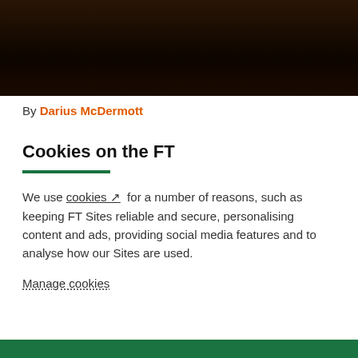[Figure (photo): Dark background photo, mostly black with faint reddish-brown tones, appears to be a night scene]
By Darius McDermott
ast year was somewhat of a rollercoaster for UK
Cookies on the FT
We use cookies ↗ for a number of reasons, such as keeping FT Sites reliable and secure, personalising content and ads, providing social media features and to analyse how our Sites are used.
Manage cookies
Accept & continue